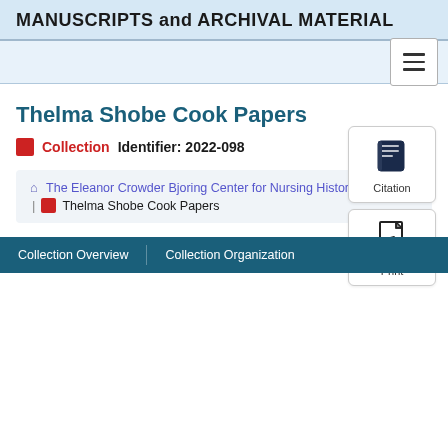MANUSCRIPTS and ARCHIVAL MATERIAL
Thelma Shobe Cook Papers
Collection  Identifier: 2022-098
[Figure (illustration): Citation button with book icon]
[Figure (illustration): Print button with PDF icon]
The Eleanor Crowder Bjoring Center for Nursing Historical Inquiry | Thelma Shobe Cook Papers
Collection Overview   Collection Organization